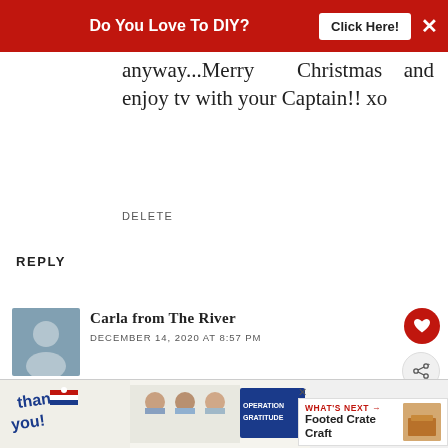Do You Love To DIY? Click Here!
anyway...Merry Christmas and enjoy tv with your Captain!! xo
DELETE
REPLY
Carla from The River
DECEMBER 14, 2020 AT 8:57 PM
Hi, oh, this is so cute. I do love it. Thank you for the trick of zip lock bag. That is one good trick. :-)
[Figure (infographic): Bottom advertisement banner showing 'Thank you' with American flag imagery and Operation Gratitude branding with people in masks holding packages]